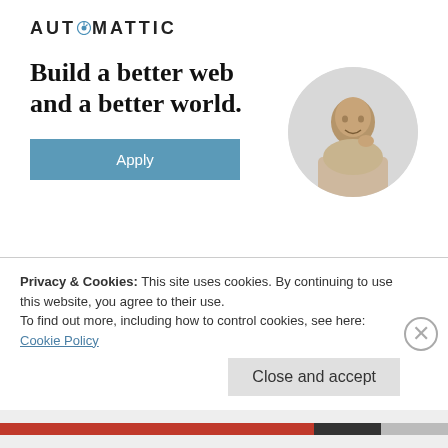[Figure (logo): Automattic logo with compass icon in place of the letter O]
[Figure (illustration): Advertisement banner: headline 'Build a better web and a better world.' with Apply button and circular photo of a smiling man resting his chin on his hand]
REPORT THIS AD
When I arrived, the weather had improved somewhat, at least enough so that I could fill my camera with numerous
Privacy & Cookies: This site uses cookies. By continuing to use this website, you agree to their use.
To find out more, including how to control cookies, see here: Cookie Policy